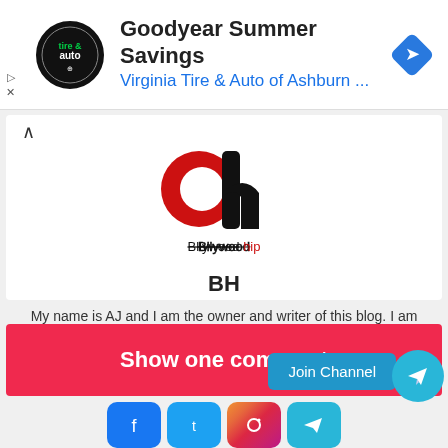[Figure (infographic): Ad banner: Goodyear Summer Savings - Virginia Tire & Auto of Ashburn logo and navigation arrow icon]
Goodyear Summer Savings
Virginia Tire & Auto of Ashburn ...
[Figure (logo): BH (Bollywood Hip) logo - red and black stylized letters bh with Hindi text below]
BH
My name is AJ and I am the owner and writer of this blog. I am a full-time blogger. I have studied BSc in computer science.
[Figure (infographic): Social icons: home, Facebook, Instagram]
Show one comment
Join Channel